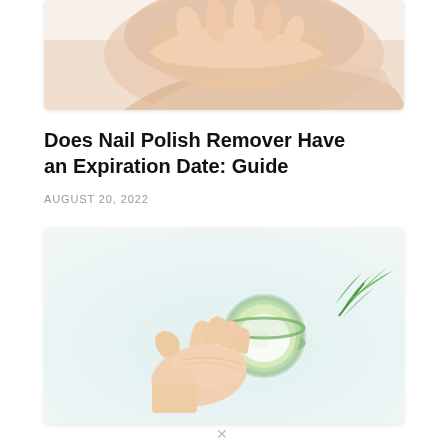[Figure (photo): Partial view of a hand or foot with light skin tone against a white/light background, cropped at top of card]
Does Nail Polish Remover Have an Expiration Date: Guide
AUGUST 20, 2022
[Figure (photo): Overhead flat-lay photo of a hand with fingers touching, near a green glass bowl with cream/lotion and green leaves/herbs on a light blue-white background]